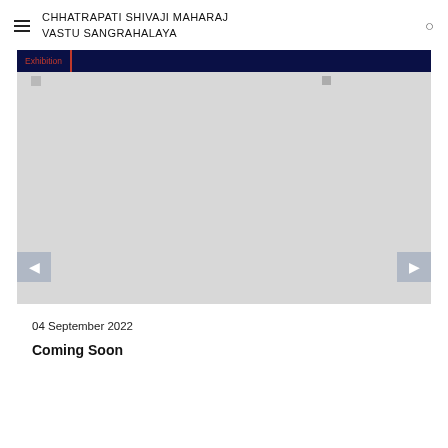CHHATRAPATI SHIVAJI MAHARAJ VASTU SANGRAHALAYA
[Figure (screenshot): Museum website exhibition slideshow area with dark navy top bar showing 'Exhibition' tab in red, a large light gray image placeholder area, and left/right navigation arrows at bottom corners]
04 September 2022
Coming Soon